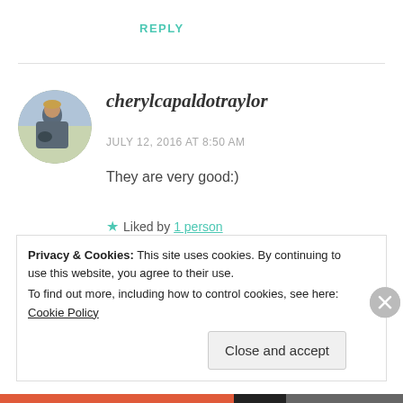REPLY
[Figure (photo): Circular avatar photo of cherylcapaldotraylor, a woman outdoors]
cherylcapaldotraylor
JULY 12, 2016 AT 8:50 AM
They are very good:)
★ Liked by 1 person
Privacy & Cookies: This site uses cookies. By continuing to use this website, you agree to their use.
To find out more, including how to control cookies, see here: Cookie Policy
Close and accept